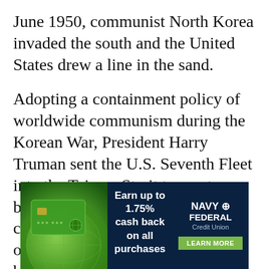June 1950, communist North Korea invaded the south and the United States drew a line in the sand.
Adopting a containment policy of worldwide communism during the Korean War, President Harry Truman sent the U.S. Seventh Fleet into the Taiwan Strait to create a bulwark against the Chinese communists. Taiwan was on its own, but independent, for the time being.
[Figure (infographic): Navy Federal Credit Union advertisement banner. Shows a green credit card on the left, text 'Earn up to 1.75% cash back on all purchases' in the center, and the Navy Federal Credit Union logo with a 'Learn More' green button on the right. Dark navy blue background.]